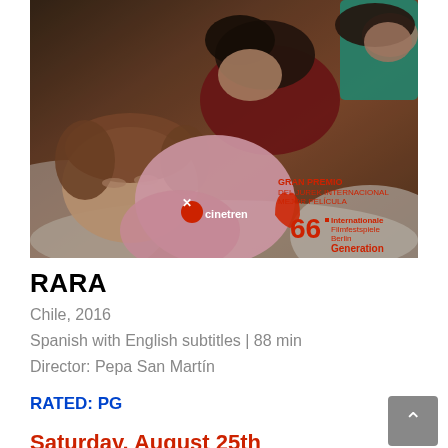[Figure (photo): Film still showing three people sleeping together in bed. A young child in pink pajamas is in the foreground, with two women sleeping behind her. One woman wears a dark red top, another wears a teal top. The image has cinetren logo overlay and Berlinale 66 Generation award badge.]
RARA
Chile, 2016
Spanish with English subtitles | 88 min
Director: Pepa San Martín
RATED: PG
Saturday, August 25th